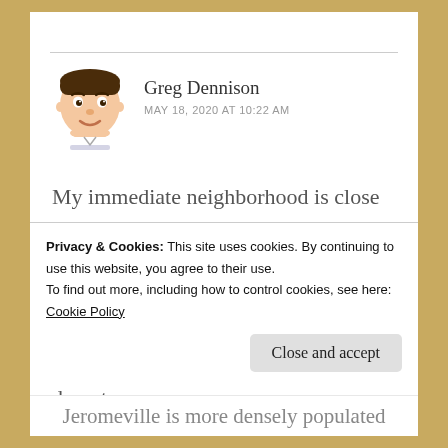[Figure (illustration): Cartoon avatar/bitmoji of Greg Dennison — a male figure in a white shirt with dark hair]
Greg Dennison
MAY 18, 2020 AT 10:22 AM
My immediate neighborhood is close to a lot of stuff, but the houses are closer together than what you're describing. The kind of place you're describing exists where I live, but they are often a little farther away from downtown…
Privacy & Cookies: This site uses cookies. By continuing to use this website, you agree to their use.
To find out more, including how to control cookies, see here:
Cookie Policy
Close and accept
Jeromeville is more densely populated